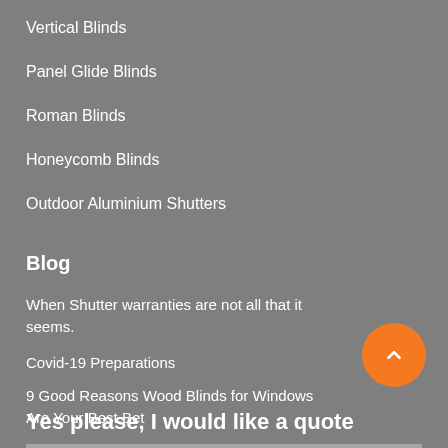Vertical Blinds
Panel Glide Blinds
Roman Blinds
Honeycomb Blinds
Outdoor Aluminium Shutters
Blog
When Shutter warranties are not all that it seems.
Covid-19 Preparations
9 Good Reasons Wood Blinds for Windows Are Your Best Bet
Yes please, I would like a quote